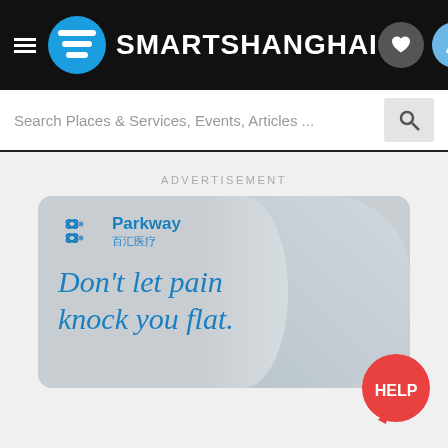SMARTSHANGHAI
Search Places & Services, Events, Articles ...
ADVERTISEMENT
[Figure (illustration): Parkway 百汇医疗 advertisement banner with tagline 'Don't let pain knock you flat.' on a grey/blue textured background.]
[Figure (illustration): Red circular HELP chat bubble button in bottom right corner.]